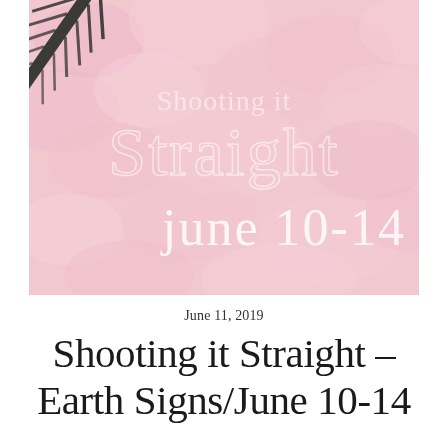[Figure (photo): Pink floral background image with a dark arrow/feather prop and overlaid text reading 'Shooting it Straight june 10-14' in white serif/outline font]
June 11, 2019
Shooting it Straight – Earth Signs/June 10-14